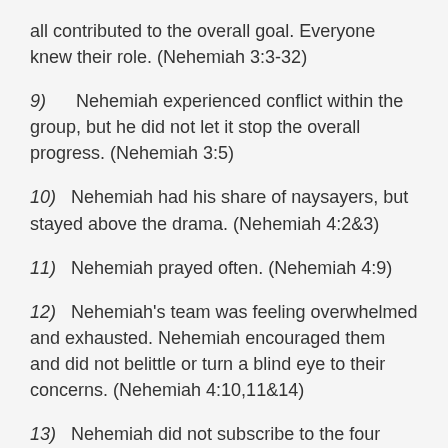all contributed to the overall goal. Everyone knew their role. (Nehemiah 3:3-32)
9) Nehemiah experienced conflict within the group, but he did not let it stop the overall progress. (Nehemiah 3:5)
10) Nehemiah had his share of naysayers, but stayed above the drama. (Nehemiah 4:2&3)
11) Nehemiah prayed often. (Nehemiah 4:9)
12) Nehemiah's team was feeling overwhelmed and exhausted. Nehemiah encouraged them and did not belittle or turn a blind eye to their concerns. (Nehemiah 4:10,11&14)
13) Nehemiah did not subscribe to the four hour work week. (Nehemiah 4:21)